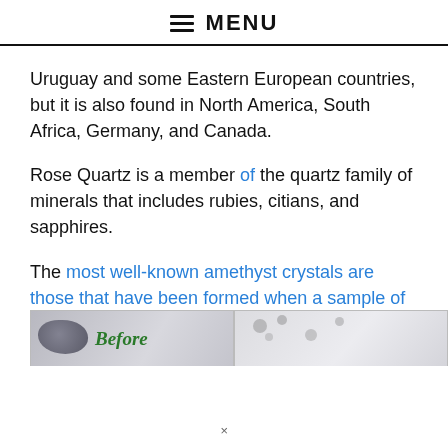MENU
Uruguay and some Eastern European countries, but it is also found in North America, South Africa, Germany, and Canada.
Rose Quartz is a member of the quartz family of minerals that includes rubies, citians, and sapphires.
The most well-known amethyst crystals are those that have been formed when a sample of amethyst is exposed to the sun’s rays over millions of years.
[Figure (photo): Side-by-side comparison image showing a mineral sample 'Before' on the left with a dark rock on a light background and a green italic 'Before' label, and an 'after' view on the right showing lighter mineral crystals.]